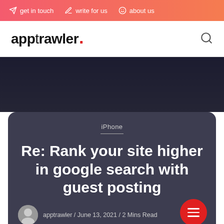get in touch   write for us   about us
apptrawler.
[Figure (screenshot): Dark hero background section with gradient from deep navy to dark purple]
iPhone
Re: Rank your site higher in google search with guest posting
apptrawler / June 13, 2021 / 2 Mins Read